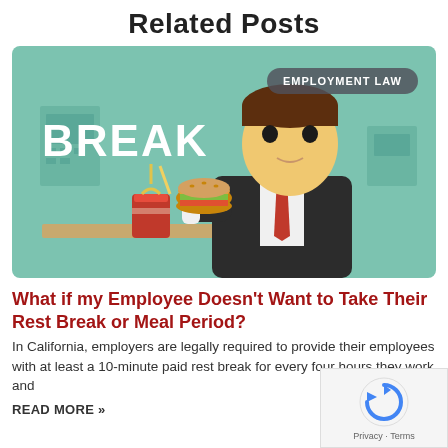Related Posts
[Figure (illustration): Cartoon illustration of a businessman in a suit eating a burger, with a soda drink on a desk, text 'BREAK' on the left, on a teal/green background. A badge reads 'EMPLOYMENT LAW'.]
What if my Employee Doesn't Want to Take Their Rest Break or Meal Period?
In California, employers are legally required to provide their employees with at least a 10-minute paid rest break for every four hours they work and
READ MORE »